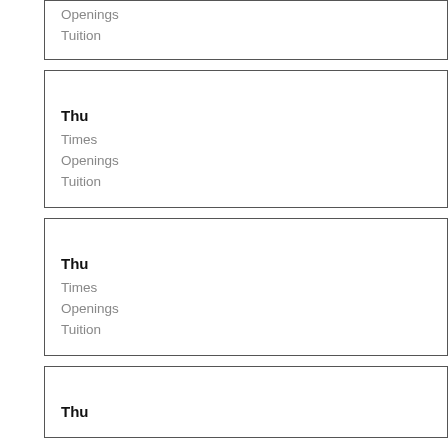| Openings |
| Tuition |
| Thu |
| --- |
| Times |
| Openings |
| Tuition |
| Thu |
| --- |
| Times |
| Openings |
| Tuition |
| Thu |
| --- |